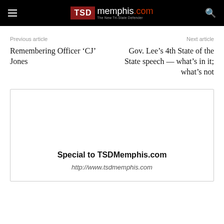TSD memphis.com — The New Tri-State Defender
Previous article
Remembering Officer ‘CJ’ Jones
Next article
Gov. Lee’s 4th State of the State speech — what’s in it; what’s not
[Figure (other): Author card box with name 'Special to TSDMemphis.com' and URL 'http://www.tsdmemphis.com']